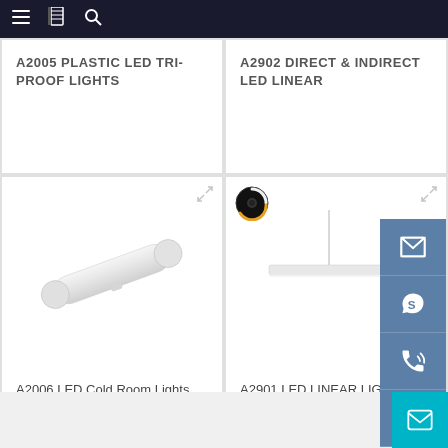Navigation bar with menu, catalog, and search icons
A2005 PLASTIC LED TRI-PROOF LIGHTS
A2902 DIRECT & INDIRECT LED LINEAR
[Figure (photo): White plastic LED tri-proof light tube fixture on white background]
A2006 LED Cold Room Lights
[Figure (photo): White LED linear pendant light fixture on white background with circular loading spinner and social/contact sidebar icons]
A2901 LED LINEAR LIGHTS